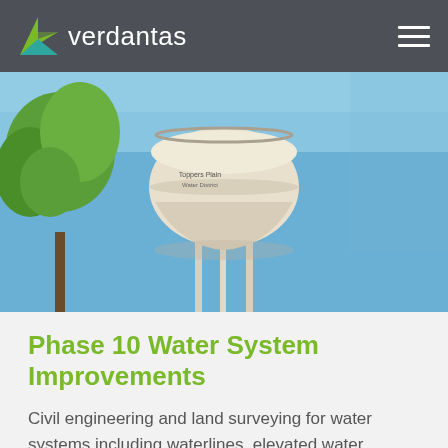verdantas
[Figure (photo): Photograph of a white elevated water storage tank (water tower) against a clear blue sky, with green trees visible on the left side. Text on the tank reads 'Toppers Plain Water District' or similar.]
Phase 10 Water System Improvements
Civil engineering and land surveying for water systems including waterlines, elevated water storage tank, and booster